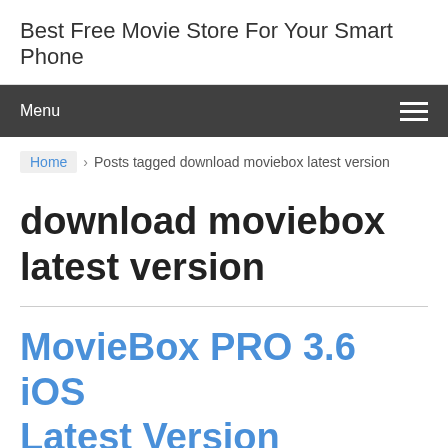Best Free Movie Store For Your Smart Phone
Menu
Home › Posts tagged download moviebox latest version
download moviebox latest version
MovieBox PRO 3.6 iOS Latest Version Released [Updated]